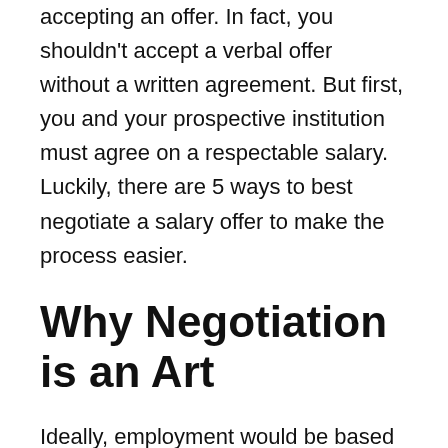accepting an offer. In fact, you shouldn't accept a verbal offer without a written agreement. But first, you and your prospective institution must agree on a respectable salary. Luckily, there are 5 ways to best negotiate a salary offer to make the process easier.
Why Negotiation is an Art
Ideally, employment would be based solely on experience and qualifications. Unfortunately, there's so much more to it than that. Your personality and demeanor can either make or break a job interview.